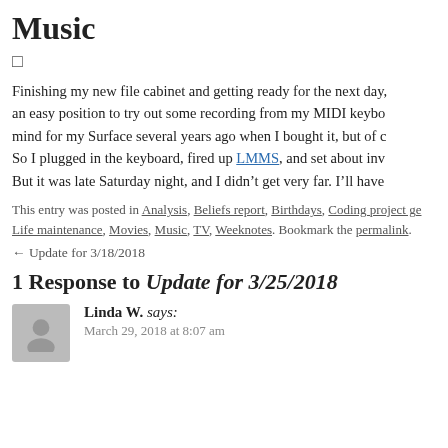Music
□
Finishing my new file cabinet and getting ready for the next day, an easy position to try out some recording from my MIDI keyboard in mind for my Surface several years ago when I bought it, but of course. So I plugged in the keyboard, fired up LMMS, and set about investigating. But it was late Saturday night, and I didn't get very far. I'll have more.
This entry was posted in Analysis, Beliefs report, Birthdays, Coding project ge Life maintenance, Movies, Music, TV, Weeknotes. Bookmark the permalink.
← Update for 3/18/2018
1 Response to Update for 3/25/2018
Linda W. says: March 29, 2018 at 8:07 am